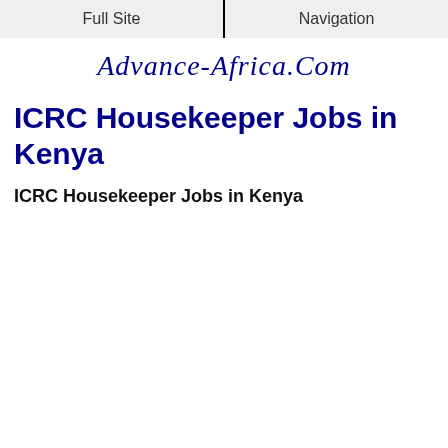Full Site | Navigation
[Figure (logo): Advance-Africa.Com italic script logo in dark blue]
ICRC Housekeeper Jobs in Kenya
ICRC Housekeeper Jobs in Kenya